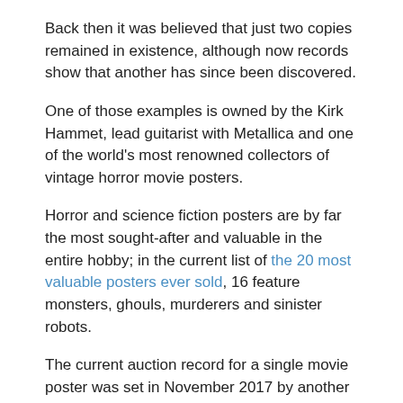Back then it was believed that just two copies remained in existence, although now records show that another has since been discovered.
One of those examples is owned by the Kirk Hammet, lead guitarist with Metallica and one of the world's most renowned collectors of vintage horror movie posters.
Horror and science fiction posters are by far the most sought-after and valuable in the entire hobby; in the current list of the 20 most valuable posters ever sold, 16 feature monsters, ghouls, murderers and sinister robots.
The current auction record for a single movie poster was set in November 2017 by another classic Universal monster, Dracula.
The style-A one-sheet poster for the 1931 film sold at Heritage Auctions in Dallas for $525,800, having spent more than 60 years in a single private collection.